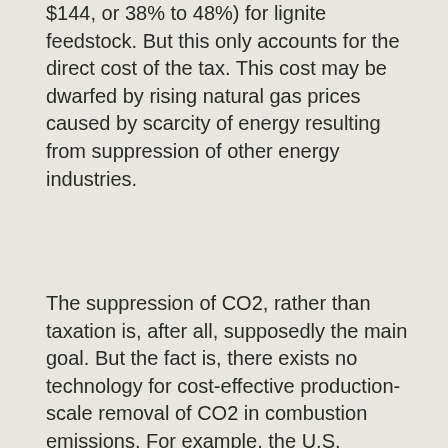$144, or 38% to 48%) for lignite feedstock. But this only accounts for the direct cost of the tax. This cost may be dwarfed by rising natural gas prices caused by scarcity of energy resulting from suppression of other energy industries.
The suppression of CO2, rather than taxation is, after all, supposedly the main goal. But the fact is, there exists no technology for cost-effective production-scale removal of CO2 in combustion emissions. For example, the U.S. Department of Energy estimates that efficiency or parasitic power losses of up to 50% will result from application of the best current carbon stripping technologies to coal-fired power generators. Since coal-fired electricity constitutes about 60% of all domestic electrical power generated, we may lose up to 30% of our entire electrical power sources. The effect on energy costs in general may be